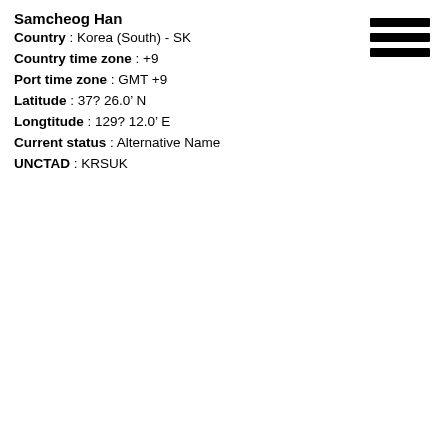Samcheog Han
Country : Korea (South) - SK
Country time zone : +9
Port time zone : GMT +9
Latitude : 37? 26.0' N
Longtitude : 129? 12.0' E
Current status : Alternative Name
UNCTAD : KRSUK
[Figure (illustration): Hamburger menu icon with three horizontal black bars]